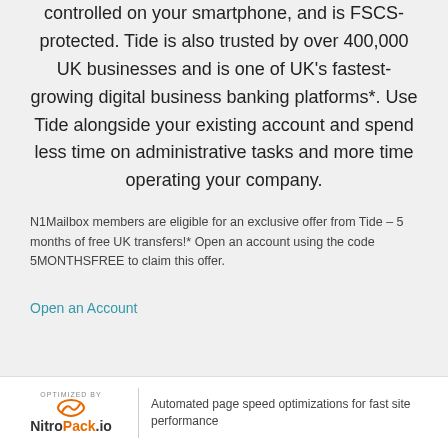controlled on your smartphone, and is FSCS-protected. Tide is also trusted by over 400,000 UK businesses and is one of UK’s fastest-growing digital business banking platforms*. Use Tide alongside your existing account and spend less time on administrative tasks and more time operating your company.
N1Mailbox members are eligible for an exclusive offer from Tide – 5 months of free UK transfers!* Open an account using the code 5MONTHSFREE to claim this offer.
Open an Account
OPTIMIZED BY NitroPack.io | Automated page speed optimizations for fast site performance